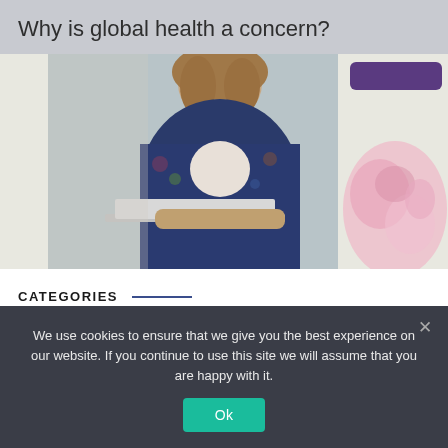Why is global health a concern?
[Figure (photo): A woman working on a laptop, wearing a floral jacket, with a partially visible pink watercolor-style image on the right side of the frame. A purple button/element is visible in the upper right of the image.]
CATEGORIES
Blog
We use cookies to ensure that we give you the best experience on our website. If you continue to use this site we will assume that you are happy with it.